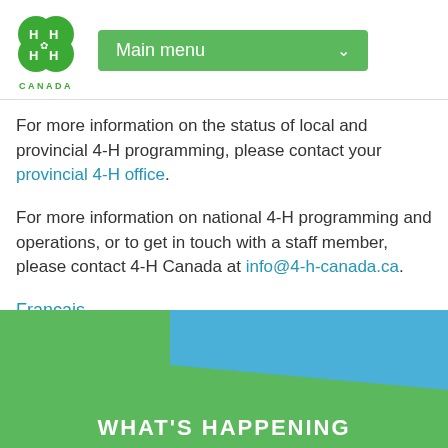[Figure (logo): 4-H Canada logo with green four-leaf clover containing H letters, and CANADA text below]
Main menu
For more information on the status of local and provincial 4-H programming, please contact your provincial 4-H office.
For more information on national 4-H programming and operations, or to get in touch with a staff member, please contact 4-H Canada at info@4-h-canada.ca.
Français
[Figure (infographic): Green and blue diagonal banner with text WHAT'S HAPPENING]